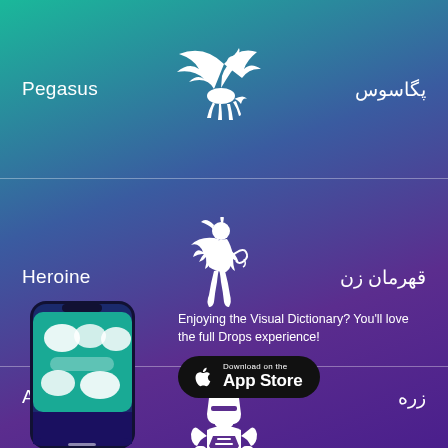Pegasus
[Figure (illustration): White silhouette of Pegasus (winged horse) facing left, mid-flight]
پگاسوس
Heroine
[Figure (illustration): White silhouette of a female heroine figure in dynamic pose with flowing cape]
قهرمان زن
Armor
[Figure (illustration): White silhouette of an armored knight/robot figure standing upright]
زره
[Figure (screenshot): Smartphone mockup showing the Drops language learning app interface with vocabulary items]
Enjoying the Visual Dictionary? You'll love the full Drops experience!
Download on the App Store